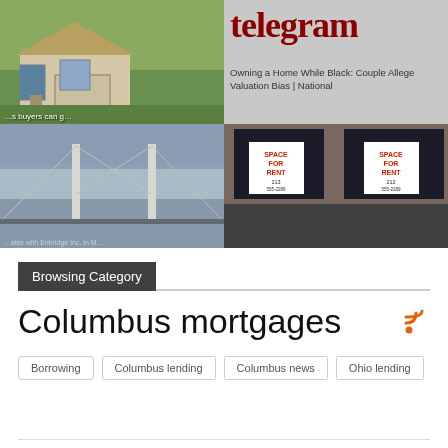[Figure (photo): Four-image grid: top-left shows a house exterior with green lawn, top-right shows a newspaper 'telegram' logo with headline 'Owning a Home While Black: Couple Allege Valuation Bias | National', bottom-left shows a suspension bridge in fog, bottom-right shows a commercial building with 'SPACE FOR RENT' signs in windows.]
Browsing Category
Columbus mortgages
Borrowing
Columbus lending
Columbus news
Ohio lending